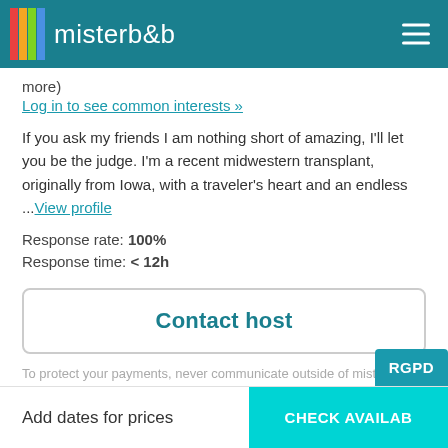misterb&b
more)
Log in to see common interests »
If you ask my friends I am nothing short of amazing, I'll let you be the judge. I'm a recent midwestern transplant, originally from Iowa, with a traveler's heart and an endless ...View profile
Response rate: 100%
Response time: < 12h
Contact host
To protect your payments, never communicate outside of misterb&b (website or app) or wire money.
Add dates for prices
CHECK AVAILAB
RGPD